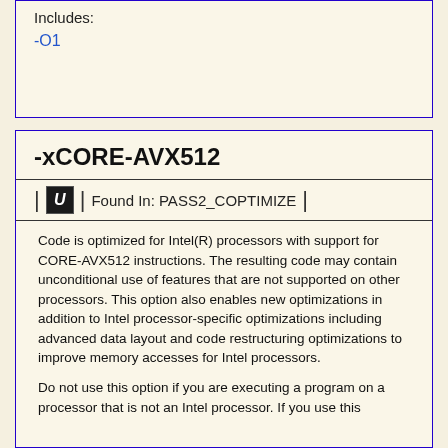Includes:
-O1
-xCORE-AVX512
Found In: PASS2_COPTIMIZE
Code is optimized for Intel(R) processors with support for CORE-AVX512 instructions. The resulting code may contain unconditional use of features that are not supported on other processors. This option also enables new optimizations in addition to Intel processor-specific optimizations including advanced data layout and code restructuring optimizations to improve memory accesses for Intel processors.
Do not use this option if you are executing a program on a processor that is not an Intel processor. If you use this